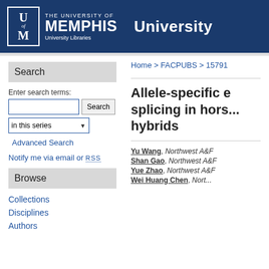[Figure (logo): University of Memphis University Libraries logo on dark blue header background]
Search
Enter search terms:
in this series
Advanced Search
Notify me via email or RSS
Browse
Collections
Disciplines
Authors
Home > FACPUBS > 15791
Allele-specific splicing in horsefly hybrids
Yu Wang, Northwest A&F
Shan Gao, Northwest A&F
Yue Zhao, Northwest A&F
Wei Huang Chen, Nort...